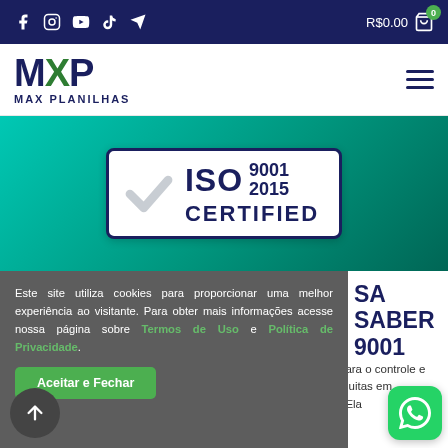Social icons: Facebook, Instagram, YouTube, TikTok, Telegram | R$0.00 cart
[Figure (logo): MXP Max Planilhas logo — dark blue M, green X, dark blue P letters with MAX PLANILHAS text below]
[Figure (illustration): ISO 9001 2015 CERTIFIED badge on teal/green gradient background]
Este site utiliza cookies para proporcionar uma melhor experiência ao visitante. Para obter mais informações acesse nossa página sobre Termos de Uso e Política de Privacidade.
Aceitar e Fechar
SA SABER 9001
para o controle e muitas em . Ela